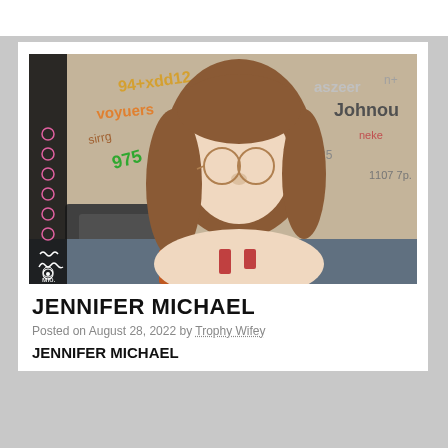[Figure (photo): Screenshot of a webcam stream showing a young woman with long reddish-brown hair and glasses, sitting on a bed in a room with colorful writing/graffiti on the wall behind her. A dark control panel sidebar is visible on the left side of the stream.]
JENNIFER MICHAEL
Posted on August 28, 2022 by Trophy Wifey
JENNIFER MICHAEL